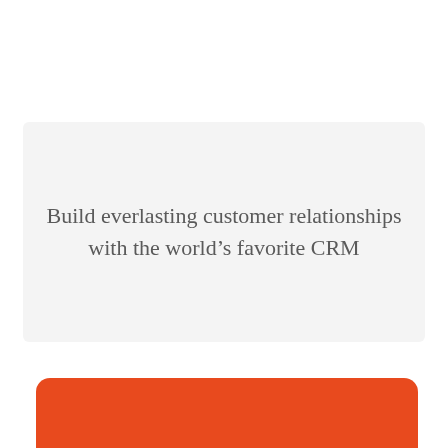[Figure (other): Light gray rounded rectangle background panel in the center of the page]
Build everlasting customer relationships with the world’s favorite CRM
[Figure (other): Orange rounded rectangle banner at the bottom of the page, partially cropped]